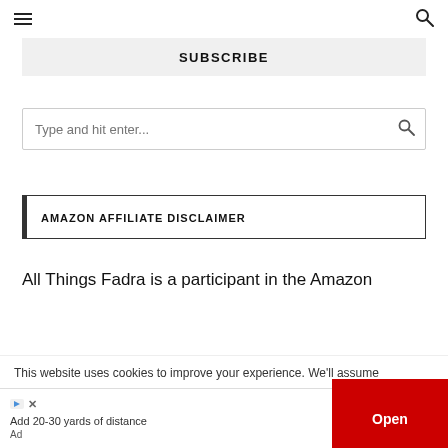Navigation header with menu and search icons
SUBSCRIBE
[Figure (screenshot): Search input box with placeholder 'Type and hit enter...' and a search icon]
AMAZON AFFILIATE DISCLAIMER
All Things Fadra is a participant in the Amazon
This website uses cookies to improve your experience. We'll assume
[Figure (infographic): Ad banner: 'Add 20-30 yards of distance' with Open button in red and Ad label]